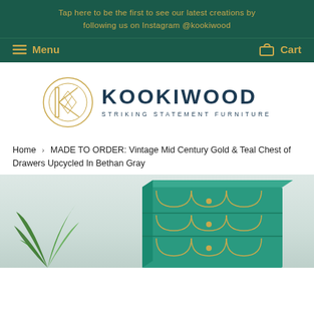Tap here to be the first to see our latest creations by following us on Instagram @kookiwood
Menu   Cart
[Figure (logo): Kookiwood logo: geometric gold K letter mark in a circle, with navy blue text 'KOOKIWOOD' and tagline 'STRIKING STATEMENT FURNITURE']
Home › MADE TO ORDER: Vintage Mid Century Gold & Teal Chest of Drawers Upcycled In Bethan Gray
[Figure (photo): Photo of a teal/turquoise chest of drawers with gold geometric Bethan Gray pattern on drawer fronts, with a green plant on the left]